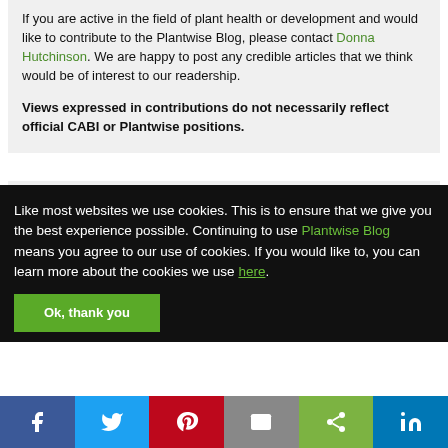If you are active in the field of plant health or development and would like to contribute to the Plantwise Blog, please contact Donna Hutchinson. We are happy to post any credible articles that we think would be of interest to our readership.
Views expressed in contributions do not necessarily reflect official CABI or Plantwise positions.
Like most websites we use cookies. This is to ensure that we give you the best experience possible. Continuing to use Plantwise Blog means you agree to our use of cookies. If you would like to, you can learn more about the cookies we use here.